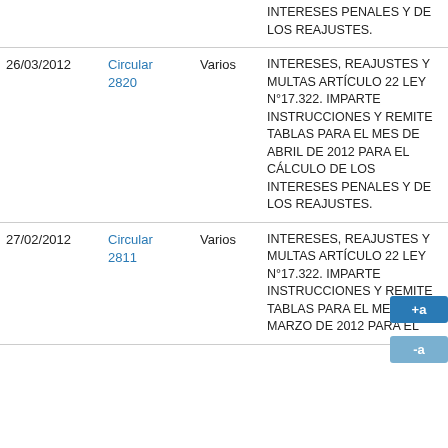| Fecha | Tipo | Destinatario | Materia | Info |
| --- | --- | --- | --- | --- |
|  |  |  | INTERESES PENALES Y DE LOS REAJUSTES. |  |
| 26/03/2012 | Circular 2820 | Varios | INTERESES, REAJUSTES Y MULTAS ARTÍCULO 22 LEY N°17.322. IMPARTE INSTRUCCIONES Y REMITE TABLAS PARA EL MES DE ABRIL DE 2012 PARA EL CÁLCULO DE LOS INTERESES PENALES Y DE LOS REAJUSTES. |  |
| 27/02/2012 | Circular 2811 | Varios | INTERESES, REAJUSTES Y MULTAS ARTÍCULO 22 LEY N°17.322. IMPARTE INSTRUCCIONES Y REMITE TABLAS PARA EL MES DE MARZO DE 2012 PARA EL |  |